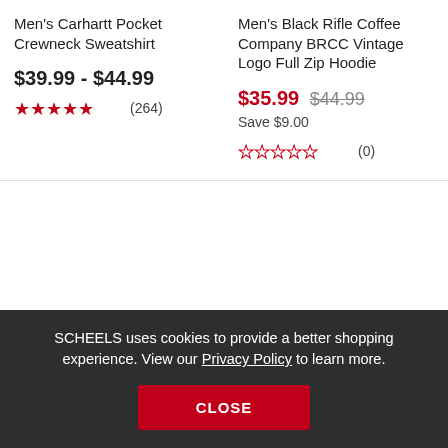Men's Carhartt Pocket Crewneck Sweatshirt
$39.99 - $44.99
★★★★★ (264)
Men's Black Rifle Coffee Company BRCC Vintage Logo Full Zip Hoodie
$35.99  $44.99  Save $9.00
☆☆☆☆☆ (0)
SCHEELS uses cookies to provide a better shopping experience. View our Privacy Policy to learn more.
CLOSE